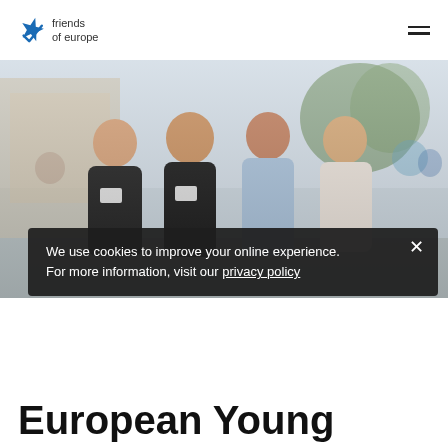friends of europe
[Figure (photo): Group photo of four young professionals smiling outdoors at an event, wearing name badges, taken at a sunny location with trees and buildings in the background.]
We use cookies to improve your online experience.
For more information, visit our privacy policy
European Young